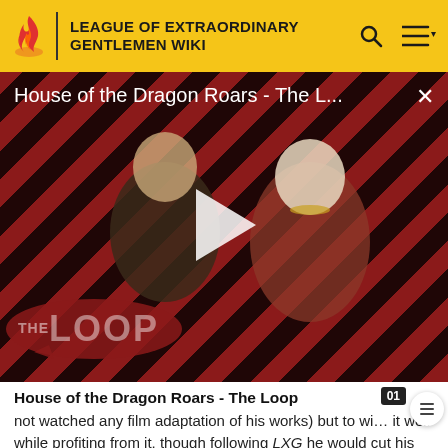LEAGUE OF EXTRAORDINARY GENTLEMEN WIKI
[Figure (screenshot): Video thumbnail for 'House of the Dragon Roars - The L...' showing two characters against a diagonal red and black striped background with a play button in the center and 'THE LOOP' logo overlay in the bottom left corner. A close (X) button is in the top right.]
House of the Dragon Roars - The Loop
not watched any film adaptation of his works) but to wi… it well while profiting from it, though following LXG he would cut his ties to Hollywood altogether, refusing credit and royalties for the subsequent film adaptations of…